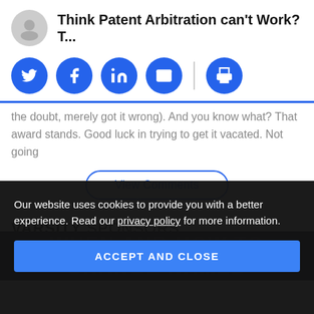Think Patent Arbitration can't Work? T...
[Figure (other): Social sharing icons: Twitter, Facebook, LinkedIn, Email, Print]
the doubt, merely got it wrong). And you know what? That award stands. Good luck in trying to get it vacated. Not going
View Comments
VARSITY SPONSORS
Our website uses cookies to provide you with a better experience. Read our privacy policy for more information.
ACCEPT AND CLOSE